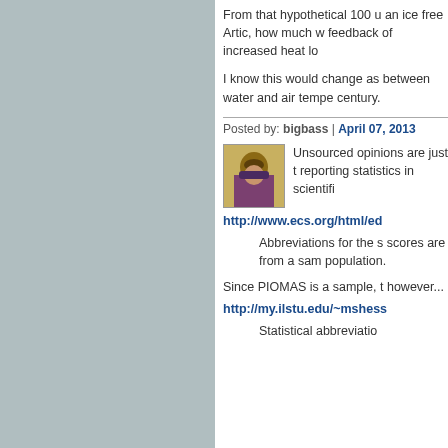From that hypothetical 100 u an ice free Artic, how much w feedback of increased heat lo
I know this would change as between water and air tempe century.
Posted by: bigbass | April 07, 2013
[Figure (photo): Avatar photo of a person wearing a hat and scarf]
Unsourced opinions are just t reporting statistics in scientifi
http://www.ecs.org/html/ed
Abbreviations for the s scores are from a sam population.
Since PIOMAS is a sample, t however...
http://my.ilstu.edu/~mshess
Statistical abbreviatio